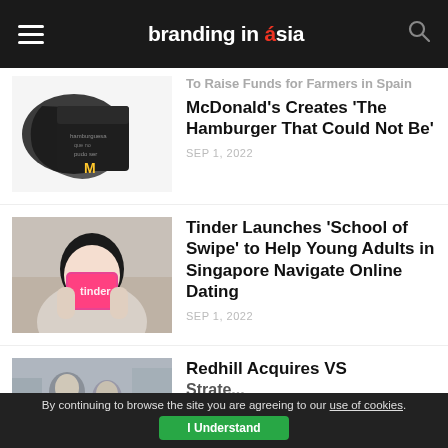branding in asia
[Figure (photo): McDonald's black hamburger box packaging on white background with black paint splash]
To Raise Funds for Farmers in Spain McDonald's Creates 'The Hamburger That Could Not Be'
SEP 1, 2022
[Figure (photo): Person holding up a phone showing Tinder app with pink screen]
Tinder Launches 'School of Swipe' to Help Young Adults in Singapore Navigate Online Dating
SEP 1, 2022
[Figure (photo): Business professionals, Redhill article thumbnail]
Redhill Acquires VS Strate...
By continuing to browse the site you are agreeing to our use of cookies. I Understand